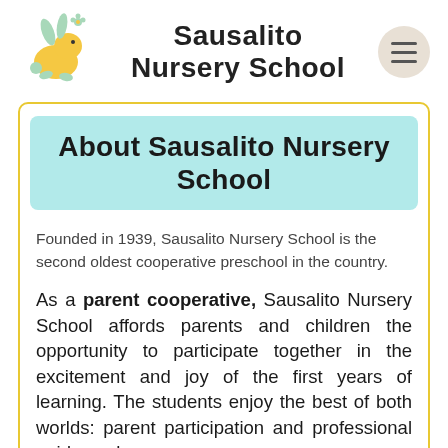[Figure (logo): Yellow cartoon rabbit/bee logo for Sausalito Nursery School]
Sausalito Nursery School
About Sausalito Nursery School
Founded in 1939, Sausalito Nursery School is the second oldest cooperative preschool in the country.
As a parent cooperative, Sausalito Nursery School affords parents and children the opportunity to participate together in the excitement and joy of the first years of learning. The students enjoy the best of both worlds: parent participation and professional guidance by a